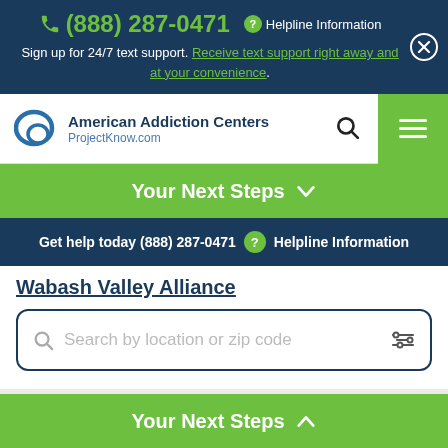(888) 287-0471  Helpline Information
Sign up for 24/7 text support. Receive text support right away and at your convenience.
[Figure (logo): American Addiction Centers - ProjectKnow.com logo with speech bubble icon]
Your Next Steps ∨
Get help today (888) 287-0471 ? Helpline Information
Wabash Valley Alliance
Search by location or zip code
Henry Ford Allegiance Health Substance Abuse
Your Next Steps ∧